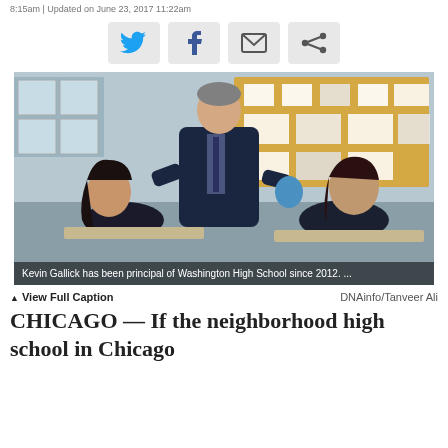8:15am | Updated on June 23, 2017 11:22am
[Figure (photo): Social media sharing buttons: Twitter, Facebook, Email, Share icons]
[Figure (photo): Kevin Gallick, principal of Washington High School since 2012, leaning over to speak with two female students seated at desks in a classroom.]
Kevin Gallick has been principal of Washington High School since 2012. ...
▲ View Full Caption    DNAinfo/Tanveer Ali
CHICAGO — If the neighborhood high school in Chicago